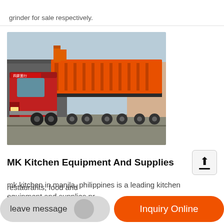grinder for sale respectively.
[Figure (photo): A red heavy-duty truck hauling a large orange industrial machine/equipment on a flatbed trailer, photographed outdoors near a warehouse building.]
MK Kitchen Equipment And Supplies
mk kitchen in manila, philippines is a leading kitchen equipment and supplies pro... restaurants, food and
leave message
Inquiry Online